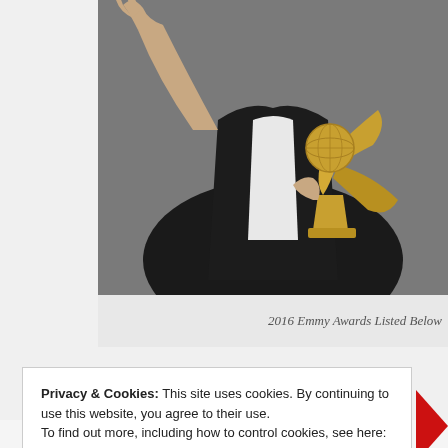[Figure (photo): Person in a black tuxedo sitting cross-legged holding a gold Emmy Award statue, with one hand raised, photographed against a dark grey background. Only the torso and hands are visible.]
2016 Emmy Awards Listed Below
Privacy & Cookies: This site uses cookies. By continuing to use this website, you agree to their use.
To find out more, including how to control cookies, see here: Our Cookie Policy
Close and accept